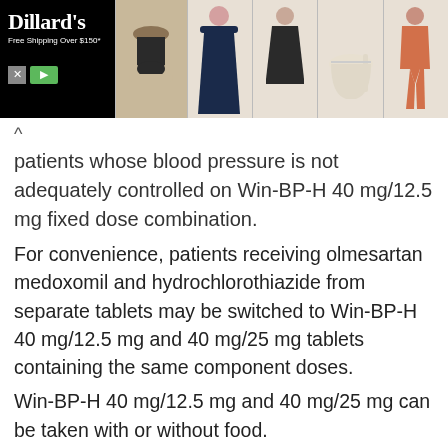[Figure (photo): Dillard's advertisement banner showing fashion items including women's swimwear, evening gown, casual dress, heels, and jumpsuit against a black background with Dillard's logo and 'Free Shipping Over $150' text.]
patients whose blood pressure is not adequately controlled on Win-BP-H 40 mg/12.5 mg fixed dose combination.
For convenience, patients receiving olmesartan medoxomil and hydrochlorothiazide from separate tablets may be switched to Win-BP-H 40 mg/12.5 mg and 40 mg/25 mg tablets containing the same component doses.
Win-BP-H 40 mg/12.5 mg and 40 mg/25 mg can be taken with or without food.
Elderly (age 65 years or over)
In elderly people the same dosage of the